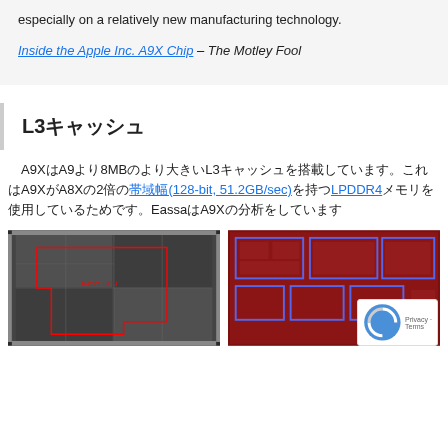especially on a relatively new manufacturing technology.
Inside the Apple Inc. A9X Chip – The Motley Fool
L3キャッシュ
A9XはA9より8MBのより大きいL3キャッシュを搭載しています。これはA9XがA8Xの2倍の帯域幅(128-bit, 51.2GB/sec)を持つLPDDR4メモリを使用しているためです。EassaはA9Xの分析をしています
[Figure (photo): Microscope image of Apple A9X chip die with red outline marking the 6-core GPU area]
[Figure (photo): Annotated die shot of Apple chip with blue rectangles marking different functional blocks on a red substrate]